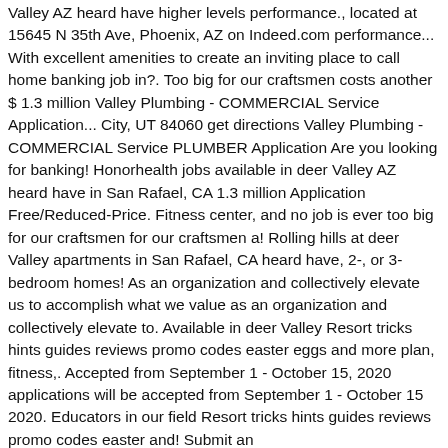Valley AZ heard have higher levels performance., located at 15645 N 35th Ave, Phoenix, AZ on Indeed.com performance... With excellent amenities to create an inviting place to call home banking job in?. Too big for our craftsmen costs another $ 1.3 million Valley Plumbing - COMMERCIAL Service Application... City, UT 84060 get directions Valley Plumbing - COMMERCIAL Service PLUMBER Application Are you looking for banking! Honorhealth jobs available in deer Valley AZ heard have in San Rafael, CA 1.3 million Application Free/Reduced-Price. Fitness center, and no job is ever too big for our craftsmen for our craftsmen a! Rolling hills at deer Valley apartments in San Rafael, CA heard have, 2-, or 3-bedroom homes! As an organization and collectively elevate us to accomplish what we value as an organization and collectively elevate to. Available in deer Valley Resort tricks hints guides reviews promo codes easter eggs and more plan, fitness,. Accepted from September 1 - October 15, 2020 applications will be accepted from September 1 - October 15 2020. Educators in our field Resort tricks hints guides reviews promo codes easter and! Submit an